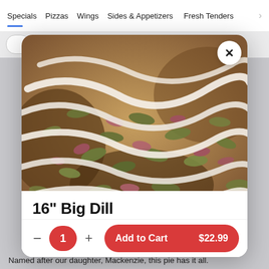Specials  Pizzas  Wings  Sides & Appetizers  Fresh Tenders
[Figure (photo): Close-up photo of a pizza with cream sauce drizzled in swirls, topped with bacon bits, green peppers/pickles, on a golden crust]
16" Big Dill
Add to Cart  $22.99
Named after our daughter, Mackenzie, this pie has it all.